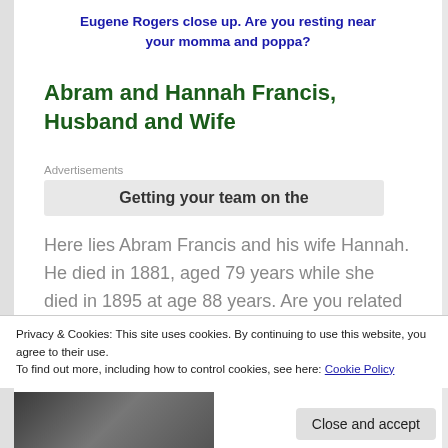Eugene Rogers close up. Are you resting near your momma and poppa?
Abram and Hannah Francis, Husband and Wife
Advertisements
[Figure (other): Partial advertisement banner with text 'Getting your team on the']
Here lies Abram Francis and his wife Hannah. He died in 1881, aged 79 years while she died in 1895 at age 88 years. Are you related to Charles A. Francis, the World War I veteran above?
Privacy & Cookies: This site uses cookies. By continuing to use this website, you agree to their use.
To find out more, including how to control cookies, see here: Cookie Policy
Close and accept
[Figure (photo): Partial photo visible at the bottom of the page, appears to be an outdoor scene]